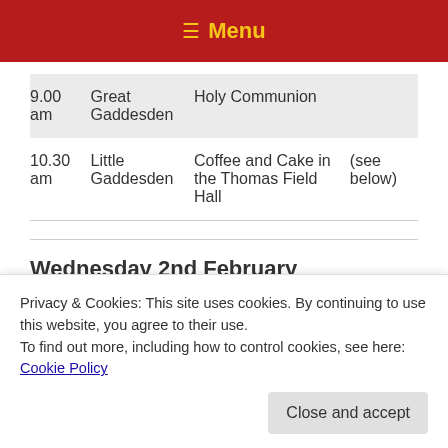≡ Menu
| Time | Location | Service | Notes |
| --- | --- | --- | --- |
| 9.00 am | Great Gaddesden | Holy Communion |  |
| 10.30 am | Little Gaddesden | Coffee and Cake in the Thomas Field Hall | (see below) |
Wednesday 2nd February
Privacy & Cookies: This site uses cookies. By continuing to use this website, you agree to their use.
To find out more, including how to control cookies, see here: Cookie Policy
Close and accept